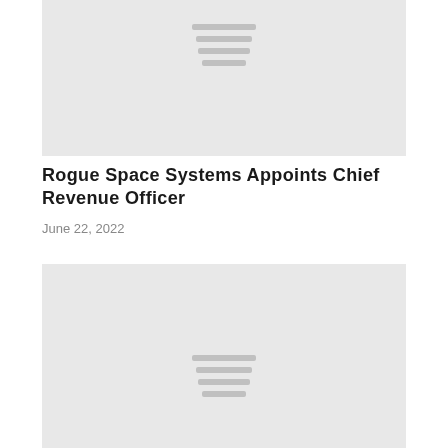[Figure (illustration): Gray placeholder image block with four horizontal lines centered near the top]
Rogue Space Systems Appoints Chief Revenue Officer
June 22, 2022
[Figure (illustration): Gray placeholder image block with four horizontal lines centered in the lower portion]